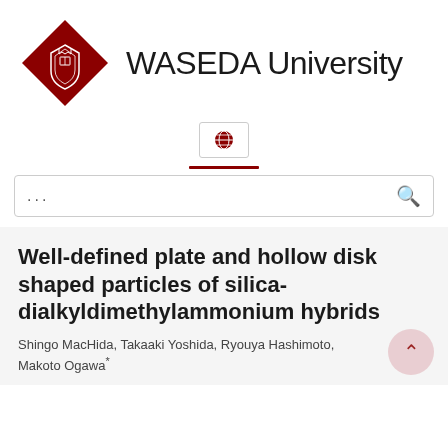[Figure (logo): Waseda University logo: dark red diamond shape with white crest/emblem inside, next to the text 'WASEDA University' in large sans-serif font]
[Figure (other): Small globe icon inside a rectangular box, centered on the page]
— (horizontal divider line)
... (search bar placeholder with search icon)
Well-defined plate and hollow disk shaped particles of silica-dialkyldimethylammonium hybrids
Shingo MacHida, Takaaki Yoshida, Ryouya Hashimoto, Makoto Ogawa*